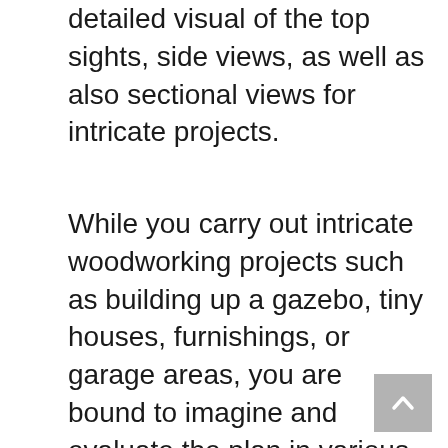detailed visual of the top sights, side views, as well as also sectional views for intricate projects.
While you carry out intricate woodworking projects such as building up a gazebo, tiny houses, furnishings, or garage areas, you are bound to imagine and evaluate the plan in various sights.
The job treasury will offer you with all the twisted details of every corner, every angle, and every joint of the job strategy. If you enjoy Woodworking, you might be aware that every task isn't as straightforward as a collapsible pet dog ramp or kitchen area action stool.